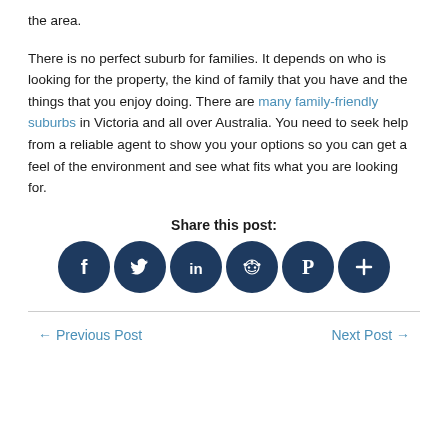the area.
There is no perfect suburb for families. It depends on who is looking for the property, the kind of family that you have and the things that you enjoy doing. There are many family-friendly suburbs in Victoria and all over Australia. You need to seek help from a reliable agent to show you your options so you can get a feel of the environment and see what fits what you are looking for.
Share this post:
[Figure (infographic): Six circular dark navy social share buttons: Facebook (f), Twitter (bird), LinkedIn (in), Reddit (alien face), Pinterest (P), and a plus (+) button.]
← Previous Post
Next Post →